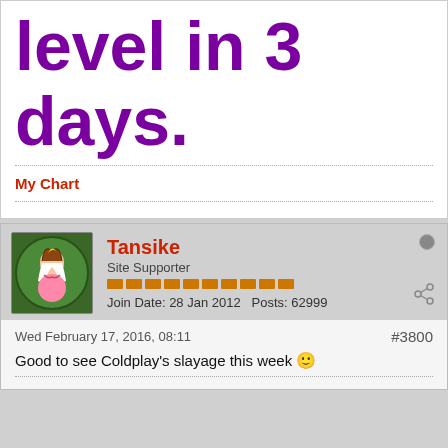level in 3 days.
My Chart
Tansike
Site Supporter
Join Date: 28 Jan 2012  Posts: 62999
Wed February 17, 2016, 08:11
#3800
Good to see Coldplay's slayage this week 🙂